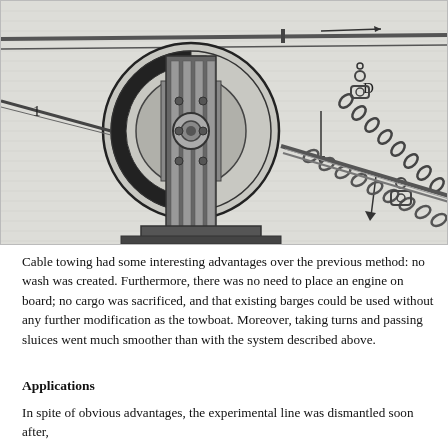[Figure (engineering-diagram): Technical engraving of a cable towing mechanism showing a large circular wheel/pulley assembly with mechanical components, labeled '1' on the left side and 'D' on the upper right. Chains and ropes are visible on the right portion, with arrows indicating direction of motion. The drawing is detailed in a 19th-century engineering illustration style.]
Cable towing had some interesting advantages over the previous meth wash was created. Furthermore, there was no need to place an engine was sacrificed, and that existing barges could be used without any furt towboat. Moreover, taking turns and passing sluices went much smoo described above.
Applications
In spite of obvious advantages, the experimental line was dismantled s